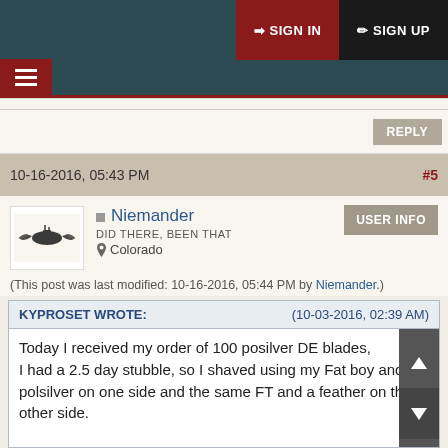SIGN IN  SIGN UP
10-16-2016, 05:43 PM  #5
Niemander
DID THERE, BEEN THAT
Colorado
USER INFO
(This post was last modified: 10-16-2016, 05:44 PM by Niemander.)
KYPROSET WROTE:  (10-03-2016, 02:39 AM)
Today I received my order of 100 posilver DE blades, I had a 2.5 day stubble, so I shaved using my Fat boy and th polsilver on one side and the same FT and a feather on th other side.